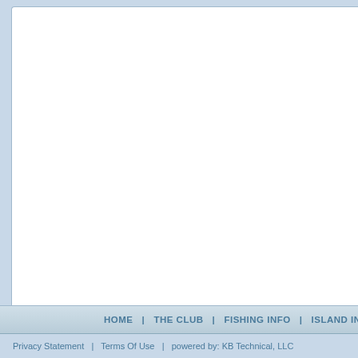HOME  |  THE CLUB  |  FISHING INFO  |  ISLAND INFO
Privacy Statement  |  Terms Of Use  |  powered by: KB Technical, LLC